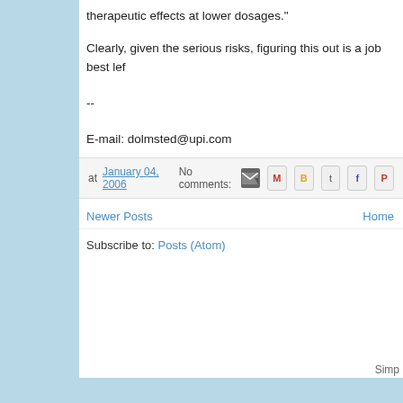therapeutic effects at lower dosages."
Clearly, given the serious risks, figuring this out is a job best lef
--
E-mail: dolmsted@upi.com
at January 04, 2006   No comments:
Newer Posts    Home
Subscribe to: Posts (Atom)
Simp